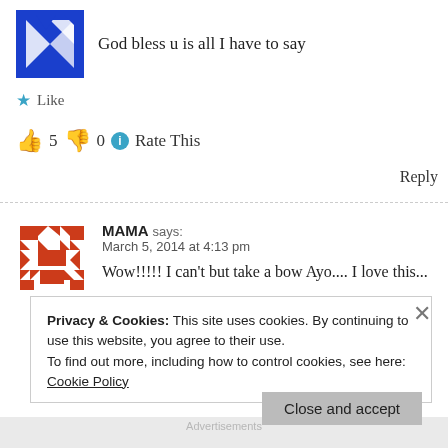God bless u is all I have to say
Like
👍 5 👎 0 ℹ Rate This
Reply
MAMA says: March 5, 2014 at 4:13 pm
Wow!!!!! I can't but take a bow Ayo.... I love this...
Privacy & Cookies: This site uses cookies. By continuing to use this website, you agree to their use. To find out more, including how to control cookies, see here: Cookie Policy
Close and accept